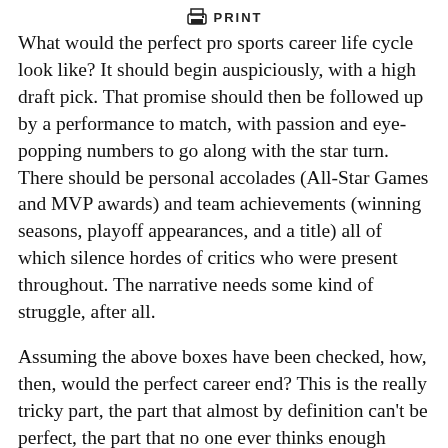PRINT
What would the perfect pro sports career life cycle look like? It should begin auspiciously, with a high draft pick. That promise should then be followed up by a performance to match, with passion and eye-popping numbers to go along with the star turn. There should be personal accolades (All-Star Games and MVP awards) and team achievements (winning seasons, playoff appearances, and a title) all of which silence hordes of critics who were present throughout. The narrative needs some kind of struggle, after all.
Assuming the above boxes have been checked, how, then, would the perfect career end? This is the really tricky part, the part that almost by definition can't be perfect, the part that no one ever thinks enough about. There'd have to be some sort of guaranteed security and a day-to-day…